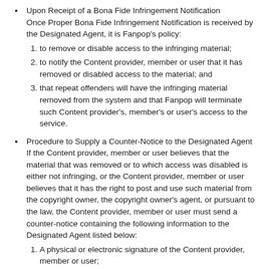Upon Receipt of a Bona Fide Infringement Notification Once Proper Bona Fide Infringement Notification is received by the Designated Agent, it is Fanpop's policy: 1. to remove or disable access to the infringing material; 2. to notify the Content provider, member or user that it has removed or disabled access to the material; and 3. that repeat offenders will have the infringing material removed from the system and that Fanpop will terminate such Content provider's, member's or user's access to the service.
Procedure to Supply a Counter-Notice to the Designated Agent If the Content provider, member or user believes that the material that was removed or to which access was disabled is either not infringing, or the Content provider, member or user believes that it has the right to post and use such material from the copyright owner, the copyright owner's agent, or pursuant to the law, the Content provider, member or user must send a counter-notice containing the following information to the Designated Agent listed below: 1. A physical or electronic signature of the Content provider, member or user; 2. Identification of the material that has been removed or to which access to has been disabled and the location at which the material appeared before it was removed or disabled; 3. A statement that the Content provider, member or user has a good faith belief that the material was removed or disabled